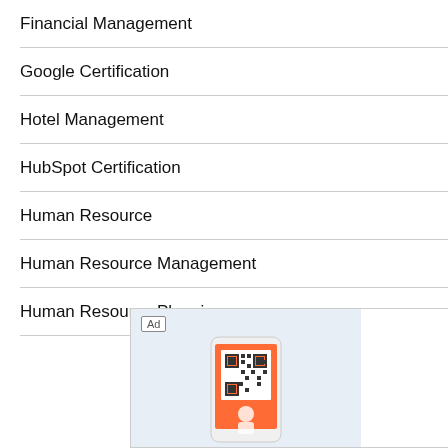Financial Management
Google Certification
Hotel Management
HubSpot Certification
Human Resource
Human Resource Management
Human Resource Planning
[Figure (screenshot): Advertisement banner with 'Ad' label, QR code phone image, 'Get Started For Free' text, and 'Open' link in blue]